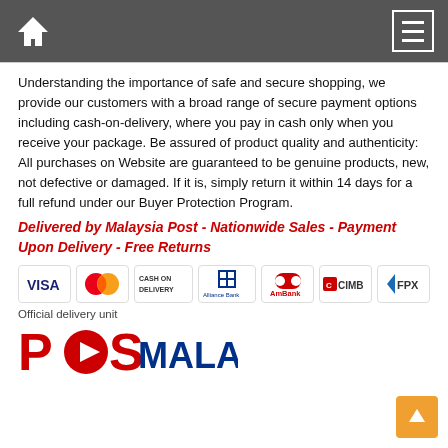Home / Menu navigation bar
Understanding the importance of safe and secure shopping, we provide our customers with a broad range of secure payment options including cash-on-delivery, where you pay in cash only when you receive your package. Be assured of product quality and authenticity: All purchases on Website are guaranteed to be genuine products, new, not defective or damaged. If it is, simply return it within 14 days for a full refund under our Buyer Protection Program.
Delivered by Malaysia Post - Nationwide Sales - Payment Upon Delivery - Free Returns
[Figure (logo): Payment method logos: VISA, MasterCard, Cash on Delivery, Alliance Bank, AmBank, CIMB, FPX]
Official delivery unit
[Figure (logo): Pos Malaysia logo in red and dark blue]